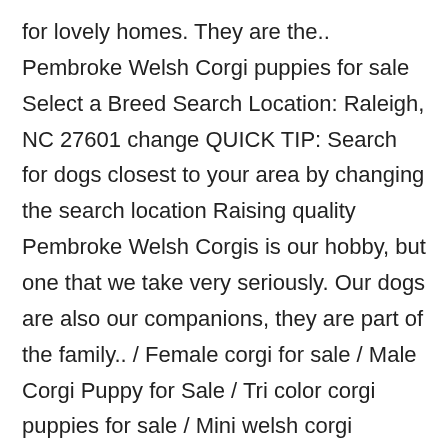for lovely homes. They are the.. Pembroke Welsh Corgi puppies for sale Select a Breed Search Location: Raleigh, NC 27601 change QUICK TIP: Search for dogs closest to your area by changing the search location Raising quality Pembroke Welsh Corgis is our hobby, but one that we take very seriously. Our dogs are also our companions, they are part of the family.. / Female corgi for sale / Male Corgi Puppy for Sale / Tri color corgi puppies for sale / Mini welsh corgi puppies for sale / Cheap corgis for sale. for sale, Pembroke welsh corgi puppies available now for sale at affordable prices, both m. Americanlisted has classifieds in Raleigh, North Carolina for dogs and cats. Kennel hounds, dogs and all kinds of cats Browse thru Pembroke Welsh Corgi Puppies for Sale near Asheville, North Carolina, USA area listings